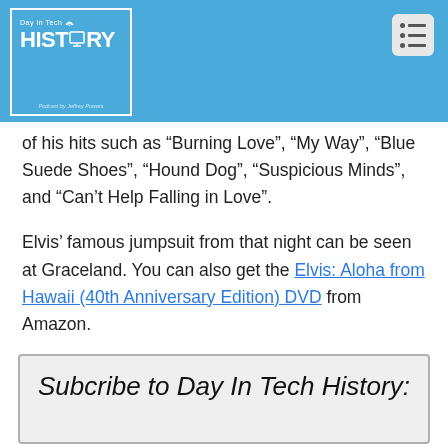[Figure (logo): Day In Tech HISTORY podcast logo — blue square with white border, white text reading 'Day In Tech' and 'HISTORY' with a monitor icon, 'Podcast by Jeffrey Powers' at bottom]
of his hits such as “Burning Love”, “My Way”, “Blue Suede Shoes”, “Hound Dog”, “Suspicious Minds”, and “Can’t Help Falling in Love”.
Elvis’ famous jumpsuit from that night can be seen at Graceland. You can also get the Elvis: Aloha from Hawaii (40th Anniversary Edition) DVD from Amazon.
Subcribe to Day In Tech History: